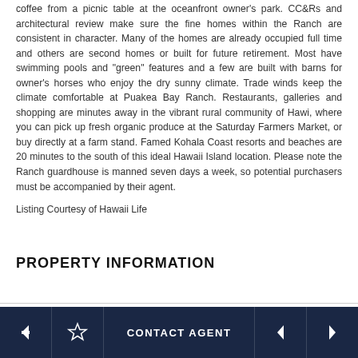coffee from a picnic table at the oceanfront owner's park. CC&Rs and architectural review make sure the fine homes within the Ranch are consistent in character. Many of the homes are already occupied full time and others are second homes or built for future retirement. Most have swimming pools and "green" features and a few are built with barns for owner's horses who enjoy the dry sunny climate. Trade winds keep the climate comfortable at Puakea Bay Ranch. Restaurants, galleries and shopping are minutes away in the vibrant rural community of Hawi, where you can pick up fresh organic produce at the Saturday Farmers Market, or buy directly at a farm stand. Famed Kohala Coast resorts and beaches are 20 minutes to the south of this ideal Hawaii Island location. Please note the Ranch guardhouse is manned seven days a week, so potential purchasers must be accompanied by their agent.
Listing Courtesy of Hawaii Life
PROPERTY INFORMATION